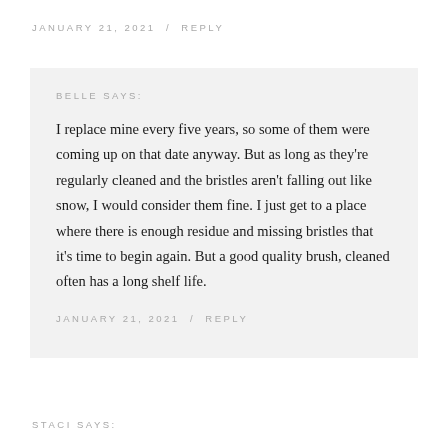JANUARY 21, 2021  /  REPLY
BELLE SAYS:
I replace mine every five years, so some of them were coming up on that date anyway. But as long as they're regularly cleaned and the bristles aren't falling out like snow, I would consider them fine. I just get to a place where there is enough residue and missing bristles that it's time to begin again. But a good quality brush, cleaned often has a long shelf life.
JANUARY 21, 2021  /  REPLY
STACI SAYS: